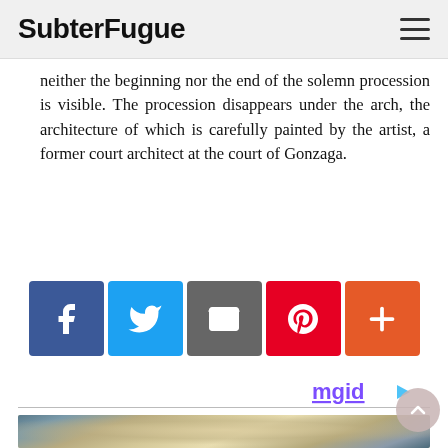SubterFugue
neither the beginning nor the end of the solemn procession is visible. The procession disappears under the arch, the architecture of which is carefully painted by the artist, a former court architect at the court of Gonzaga.
[Figure (infographic): Social sharing buttons: Facebook (blue), Twitter (light blue), Email (gray), Pinterest (red), More/Plus (orange-red)]
[Figure (logo): mgid logo with play button triangle]
[Figure (photo): Food photo showing what appears to be bread or chicken in a dutch oven with parchment paper]